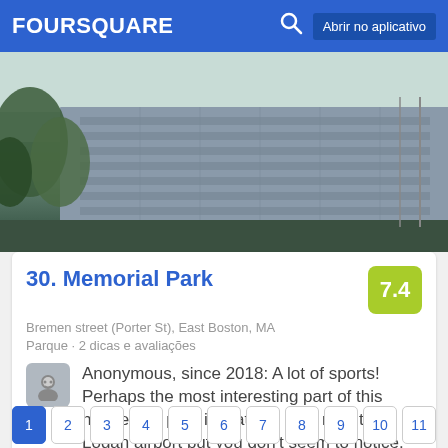FOURSQUARE  Abrir no aplicativo
[Figure (photo): Outdoor photo of a large multi-story brick/concrete building with trees in the foreground and a pale sky background, likely Memorial Park area in East Boston, MA]
30. Memorial Park
Bremen street (Porter St), East Boston, MA
Parque · 2 dicas e avaliações
Anonymous, since 2018: A lot of sports! Perhaps the most interesting part of this happening park is that it is right next to Logan airport but you don't seem to notice.
1  2  3  4  5  6  7  8  9  10  11